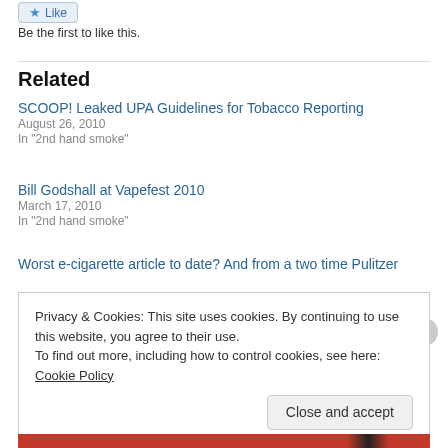[Figure (other): Like button with star icon]
Be the first to like this.
Related
SCOOP! Leaked UPA Guidelines for Tobacco Reporting
August 26, 2010
In "2nd hand smoke"
Bill Godshall at Vapefest 2010
March 17, 2010
In "2nd hand smoke"
Worst e-cigarette article to date? And from a two time Pulitzer
Privacy & Cookies: This site uses cookies. By continuing to use this website, you agree to their use.
To find out more, including how to control cookies, see here: Cookie Policy
Close and accept